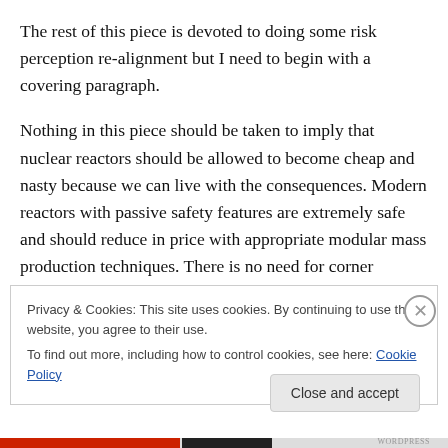The rest of this piece is devoted to doing some risk perception re-alignment but I need to begin with a covering paragraph.
Nothing in this piece should be taken to imply that nuclear reactors should be allowed to become cheap and nasty because we can live with the consequences. Modern reactors with passive safety features are extremely safe and should reduce in price with appropriate modular mass production techniques. There is no need for corner cutting.
Privacy & Cookies: This site uses cookies. By continuing to use this website, you agree to their use.
To find out more, including how to control cookies, see here: Cookie Policy
Close and accept